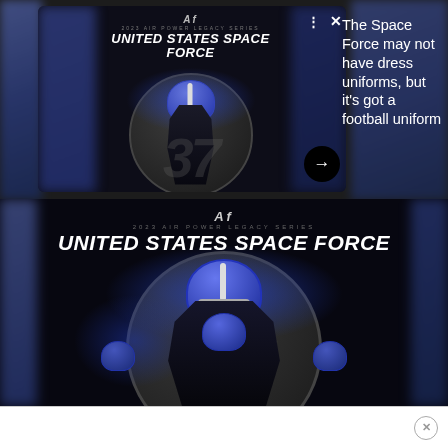[Figure (screenshot): Screenshot of a social media post showing Air Force football uniform promotion for United States Space Force theme. Top portion shows a card/notification with a blurred background and a centered image of a football player in dark uniform with blue helmet, with 'UNITED STATES SPACE FORCE' text and an AF logo. Three-dot menu and X close button visible. Arrow navigation button shown.]
The Space Force may not have dress uniforms, but it's got a football uniform
[Figure (photo): Larger version of the United States Space Force football uniform promotional image. Dark background with AF logo at top, '2023 AIR POWER LEGACY SERIES' subtitle, large italic bold text 'UNITED STATES SPACE FORCE', circular graphic with blue glowing helmet, large number in background, football player in dark uniform with blue helmet in foreground.]
[Figure (other): White advertisement banner at the bottom of the screenshot with a circular close/dismiss button (X) on the right side.]